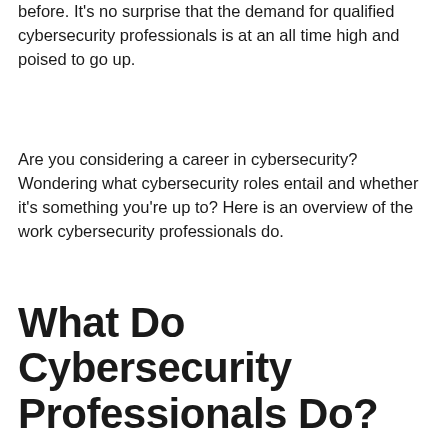before. It's no surprise that the demand for qualified cybersecurity professionals is at an all time high and poised to go up.
Are you considering a career in cybersecurity? Wondering what cybersecurity roles entail and whether it's something you're up to? Here is an overview of the work cybersecurity professionals do.
What Do Cybersecurity Professionals Do?